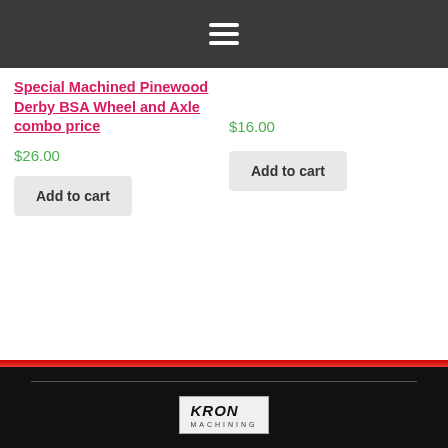Navigation menu icon
Special Machined Pinewood Derby BSA Wheel and Axle combo price
$26.00
Add to cart
$16.00
Add to cart
[Figure (logo): KRON Machining logo in a bordered box]
Copyright 2020 © All rights Reserved. Design by Web Services, Inc.